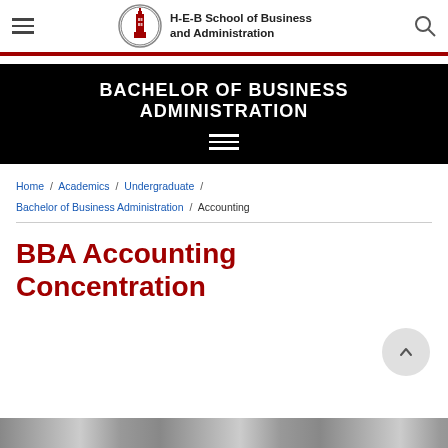H-E-B School of Business and Administration
[Figure (screenshot): Black banner with text BACHELOR OF BUSINESS ADMINISTRATION and hamburger menu icon]
Home / Academics / Undergraduate / Bachelor of Business Administration / Accounting
BBA Accounting Concentration
[Figure (photo): Partial photo strip at bottom of page]